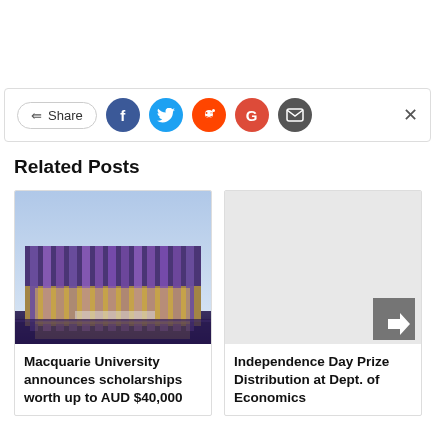[Figure (other): Share bar with social media icons: Facebook, Twitter, Reddit, Google+, Email, and a close X button]
Related Posts
[Figure (photo): Photo of Macquarie University building exterior with purple/pink facade panels and glass at night]
Macquarie University announces scholarships worth up to AUD $40,000
[Figure (other): Grey placeholder image with a right arrow navigation button]
Independence Day Prize Distribution at Dept. of Economics